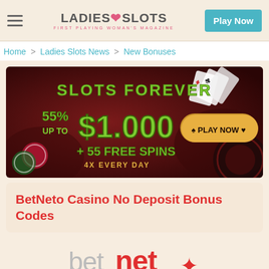LADIES❤SLOTS — FIRST PLAYING WOMAN'S MAGAZINE | Play Now
Home > Ladies Slots News > New Bonuses
[Figure (infographic): Casino banner for Slots Forever showing 55% up to $1,000 + 55 Free Spins 4x Every Day with Play Now button on dark red background with cards and roulette imagery]
BetNeto Casino No Deposit Bonus Codes
[Figure (logo): BetNeto logo: 'bet' in grey light font, 'net' in bold red, asterisk/snowflake symbol in red]